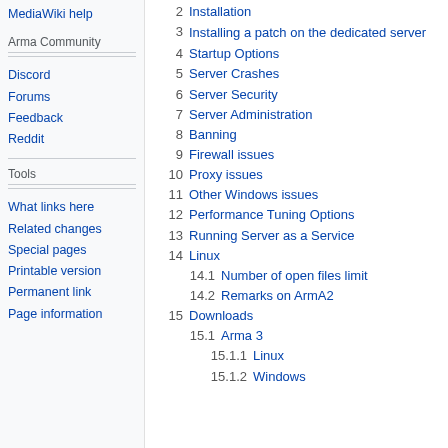MediaWiki help
Arma Community
Discord
Forums
Feedback
Reddit
Tools
What links here
Related changes
Special pages
Printable version
Permanent link
Page information
2   Installation
3   Installing a patch on the dedicated server
4   Startup Options
5   Server Crashes
6   Server Security
7   Server Administration
8   Banning
9   Firewall issues
10  Proxy issues
11  Other Windows issues
12  Performance Tuning Options
13  Running Server as a Service
14  Linux
14.1  Number of open files limit
14.2  Remarks on ArmA2
15  Downloads
15.1  Arma 3
15.1.1  Linux
15.1.2  Windows